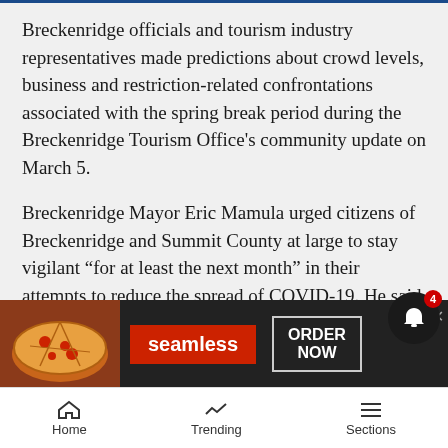Breckenridge officials and tourism industry representatives made predictions about crowd levels, business and restriction-related confrontations associated with the spring break period during the Breckenridge Tourism Office's community update on March 5.
Breckenridge Mayor Eric Mamula urged citizens of Breckenridge and Summit County at large to stay vigilant “for at least the next month” in their attempts to reduce the spread of COVID-19. He said that while the county’s case numbers are trending downward, he is afraid the community will see a resurgence of the virus due to spring break crowds expected to arrive in mid-M[arch]
Mamu[la]...[r]ant
[Figure (screenshot): Advertisement banner for Seamless food delivery with pizza image on left, red Seamless logo in center, and ORDER NOW button on right]
Home   Trending   Sections